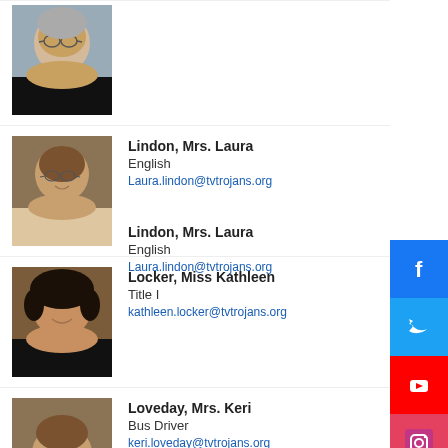[Figure (photo): Headshot of older woman with glasses, gray background]
[Figure (photo): Headshot of Mrs. Laura Lindon, brown background]
Lindon, Mrs. Laura
English
Laura.lindon@tvtrojans.org
[Figure (photo): Headshot of Miss Kathleen Locker, brown background]
Locker, Miss Kathleen
Title I
kathleen.locker@tvtrojans.org
[Figure (photo): Partial headshot of Mrs. Keri Loveday]
Loveday, Mrs. Keri
Bus Driver
keri.loveday@tvtrojans.org